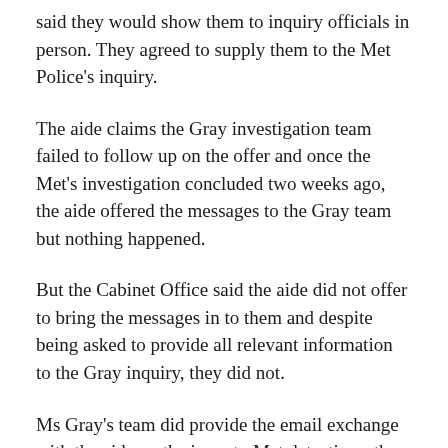said they would show them to inquiry officials in person. They agreed to supply them to the Met Police's inquiry.
The aide claims the Gray investigation team failed to follow up on the offer and once the Met's investigation concluded two weeks ago, the aide offered the messages to the Gray team but nothing happened.
But the Cabinet Office said the aide did not offer to bring the messages in to them and despite being asked to provide all relevant information to the Gray inquiry, they did not.
Ms Gray's team did provide the email exchange with the aide on the issue to Met detectives, the Cabinet Office said.